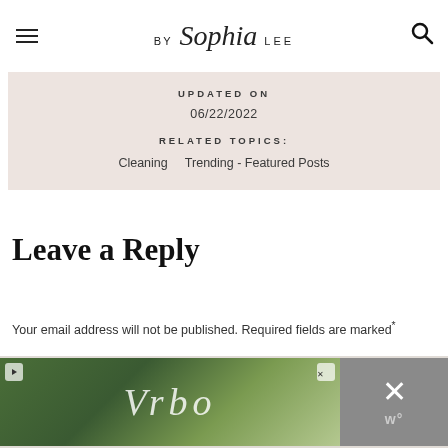BY Sophia LEE
UPDATED ON
06/22/2022
RELATED TOPICS:
Cleaning   Trending - Featured Posts
Leave a Reply
Your email address will not be published. Required fields are marked
[Figure (other): Vrbo advertisement banner with tropical/resort background and close button]